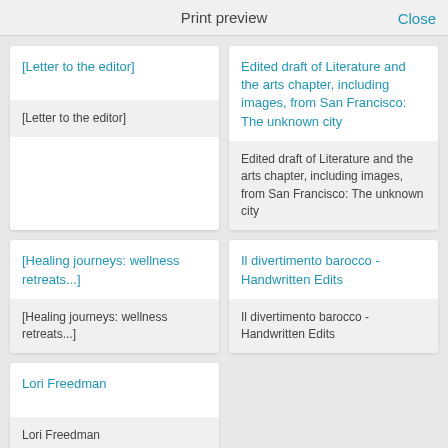Print preview
Close
[Letter to the editor]
[Letter to the editor]
Edited draft of Literature and the arts chapter, including images, from San Francisco: The unknown city
Edited draft of Literature and the arts chapter, including images, from San Francisco: The unknown city
[Healing journeys: wellness retreats...]
[Healing journeys: wellness retreats...]
Il divertimento barocco - Handwritten Edits
Il divertimento barocco - Handwritten Edits
Lori Freedman
Lori Freedman
Concerto Now and Then - Sketches and Notes from
Concerto Now and Then - Information of Enclosed